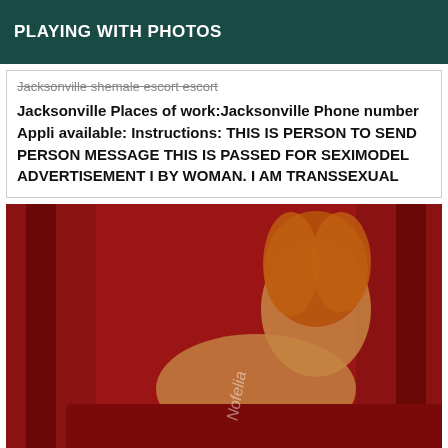PLAYING WITH PHOTOS
Jacksonville shemale escort escort
Jacksonville Places of work:Jacksonville Phone number Appli available: Instructions: THIS IS PERSON TO SEND PERSON MESSAGE THIS IS PASSED FOR SEXIMODEL ADVERTISEMENT I BY WOMAN. I AM TRANSSEXUAL
[Figure (photo): A person with curly reddish hair posing on a red couch/surface in front of red curtains, with a watermark text visible on leg.]